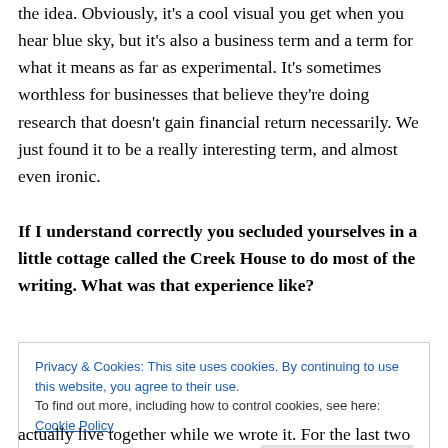the idea. Obviously, it's a cool visual you get when you hear blue sky, but it's also a business term and a term for what it means as far as experimental. It's sometimes worthless for businesses that believe they're doing research that doesn't gain financial return necessarily. We just found it to be a really interesting term, and almost even ironic.
If I understand correctly you secluded yourselves in a little cottage called the Creek House to do most of the writing. What was that experience like?
Privacy & Cookies: This site uses cookies. By continuing to use this website, you agree to their use.
To find out more, including how to control cookies, see here: Cookie Policy
actually live together while we wrote it. For the last two